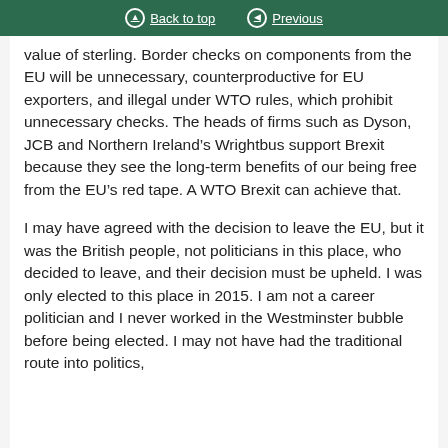Back to top   Previous
value of sterling. Border checks on components from the EU will be unnecessary, counterproductive for EU exporters, and illegal under WTO rules, which prohibit unnecessary checks. The heads of firms such as Dyson, JCB and Northern Ireland’s Wrightbus support Brexit because they see the long-term benefits of our being free from the EU’s red tape. A WTO Brexit can achieve that.
I may have agreed with the decision to leave the EU, but it was the British people, not politicians in this place, who decided to leave, and their decision must be upheld. I was only elected to this place in 2015. I am not a career politician and I never worked in the Westminster bubble before being elected. I may not have had the traditional route into politics,